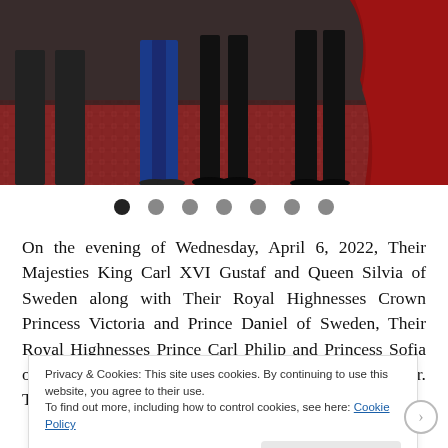[Figure (photo): Partial view of people's legs and feet standing on an ornate red carpet, with blue, black, and red formal attire visible. The image is cropped showing only the lower portion of the figures.]
On the evening of Wednesday, April 6, 2022, Their Majesties King Carl XVI Gustaf and Queen Silvia of Sweden along with Their Royal Highnesses Crown Princess Victoria and Prince Daniel of Sweden, Their Royal Highnesses Prince Carl Philip and Princess Sofia of Sweden, and Princess Christina and her husband. Mr. Tord Magnuson
Privacy & Cookies: This site uses cookies. By continuing to use this website, you agree to their use.
To find out more, including how to control cookies, see here: Cookie Policy
Close and accept